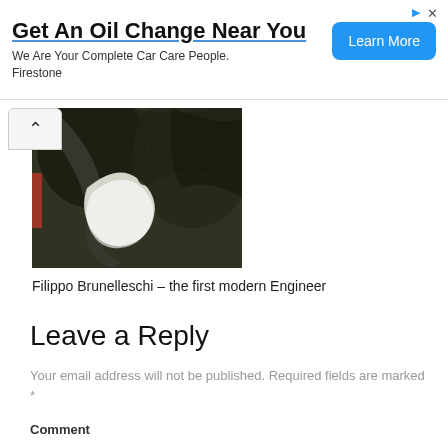[Figure (infographic): Advertisement banner: 'Get An Oil Change Near You' with subtitle 'We Are Your Complete Car Care People. Firestone' and a blue 'Learn More' button on the right, with ad icons top right.]
[Figure (photo): A painting showing abstract curved shapes, possibly arms or organic forms, with white curved forms against dark background, red accent on left edge.]
Filippo Brunelleschi – the first modern Engineer
Leave a Reply
Your email address will not be published. Required fields are marked *
Comment